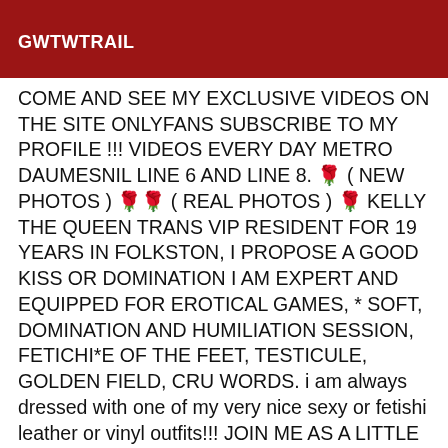GWTWTRAIL
COME AND SEE MY EXCLUSIVE VIDEOS ON THE SITE ONLYFANS SUBSCRIBE TO MY PROFILE !!! VIDEOS EVERY DAY METRO DAUMESNIL LINE 6 AND LINE 8. 🌹 ( NEW PHOTOS ) 🌹🌹 ( REAL PHOTOS ) 🌹 KELLY THE QUEEN TRANS VIP RESIDENT FOR 19 YEARS IN FOLKSTON, I PROPOSE A GOOD KISS OR DOMINATION I AM EXPERT AND EQUIPPED FOR EROTICAL GAMES, * SOFT, DOMINATION AND HUMILIATION SESSION, FETICHI*E OF THE FEET, TESTICULE, GOLDEN FIELD, CRU WORDS. i am always dressed with one of my very nice sexy or fetishi leather or vinyl outfits!!! JOIN ME AS A LITTLE NIGHTNESS OR SUBMITTED TO MAKE YOU GO THROUGH ME AT PARTICULAR MOMENTS, ALSO EROTICAL, WITH RESPECT AND GUARANTEED HYGIENE. I AM RESIDENT IN FOLKSTON I RECEIVE AND TRAVEL TO YOUR HOME OR TO YOUR HOTEL FOR HOT MOMENTS. I AM A VERY DiSCRETE AND